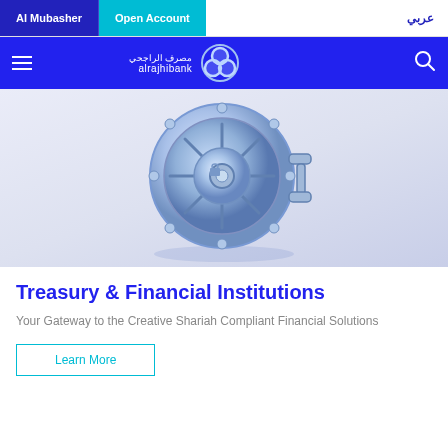Al Mubasher | Open Account | عربي
[Figure (logo): Al Rajhi Bank logo with Arabic text مصرف الراجحي and alrajhibank wordmark, with a stylized blue 3D lock/vault icon]
[Figure (illustration): 3D blue metallic bank vault door with circular wheel mechanism, bolts, and handle on a light blue-grey gradient background]
Treasury & Financial Institutions
Your Gateway to the Creative Shariah Compliant Financial Solutions
Learn More